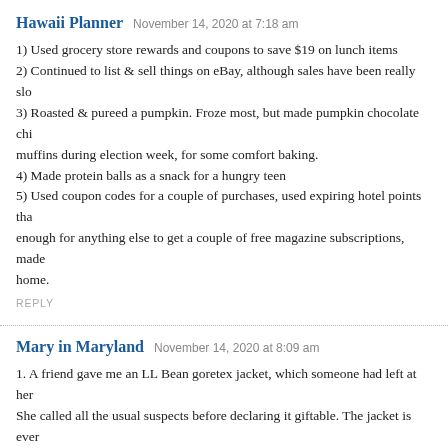Hawaii Planner  November 14, 2020 at 7:18 am
1) Used grocery store rewards and coupons to save $19 on lunch items
2) Continued to list & sell things on eBay, although sales have been really slo…
3) Roasted & pureed a pumpkin. Froze most, but made pumpkin chocolate chi… muffins during election week, for some comfort baking.
4) Made protein balls as a snack for a hungry teen
5) Used coupon codes for a couple of purchases, used expiring hotel points tha… enough for anything else to get a couple of free magazine subscriptions, made… home.
REPLY
Mary in Maryland  November 14, 2020 at 8:09 am
1. A friend gave me an LL Bean goretex jacket, which someone had left at her… She called all the usual suspects before declaring it giftable. The jacket is ever… flatters my coloring.
2. I bring home jackets I find on the road (roadkill) or ones that hang on fence… few days. I clean and mend them and take them to the day laborer center on co…